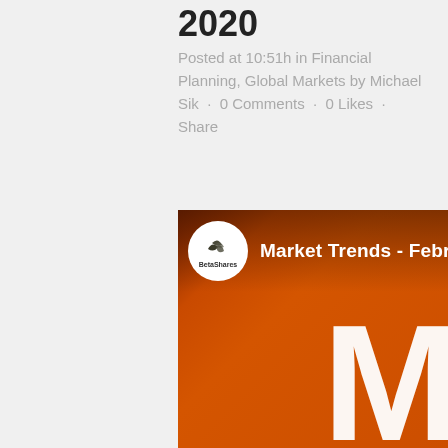2020
Posted at 10:51h in Financial Planning, Global Markets by Michael Sik · 0 Comments · 0 Likes · Share
[Figure (illustration): BetaShares branded image with orange background, circular logo with BetaShares text and bird/leaf icons, header text 'Market Trends - February 2020', and large partial letter 'M' in white at bottom right]